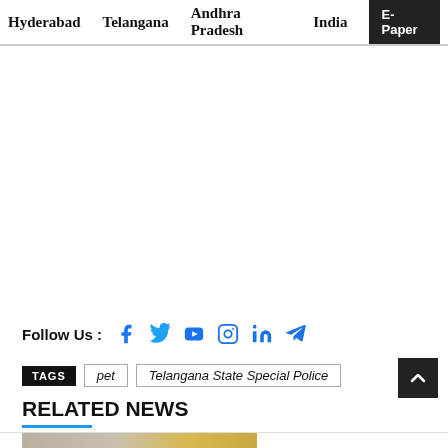Hyderabad  Telangana  Andhra Pradesh  India  E-Paper
Follow Us :
TAGS  pet  Telangana State Special Police
RELATED NEWS